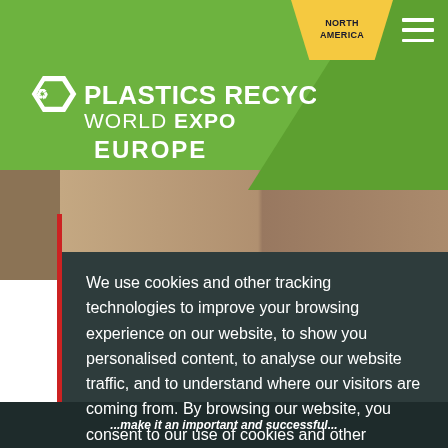[Figure (logo): Plastics Recycling World Expo Europe logo on green header background with North America navigation tab and hamburger menu]
[Figure (photo): Background photo strip showing event attendees at expo]
We use cookies and other tracking technologies to improve your browsing experience on our website, to show you personalised content, to analyse our website traffic, and to understand where our visitors are coming from. By browsing our website, you consent to our use of cookies and other tracking technologies.  Learn more
Opt Out
OK
...make it an important and successful...